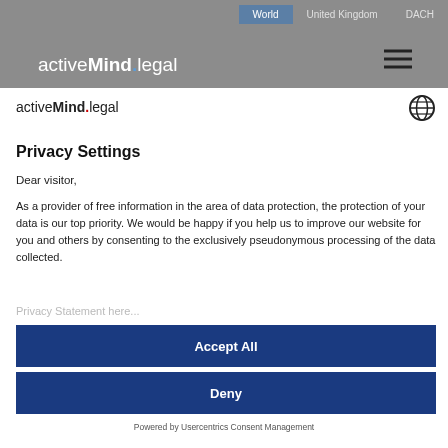activeMind.legal | World | United Kingdom | DACH
[Figure (logo): activeMind.legal logo in white on grey header background with hamburger menu icon]
[Figure (logo): activeMind.legal logo in dark text on white background with globe icon]
Privacy Settings
Dear visitor,
As a provider of free information in the area of data protection, the protection of your data is our top priority. We would be happy if you help us to improve our website for you and others by consenting to the exclusively pseudonymous processing of the data collected.
Privacy Statement here...
Accept All
Deny
Powered by Usercentrics Consent Management